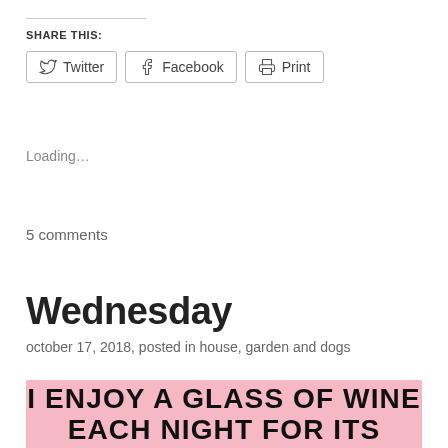SHARE THIS:
Twitter   Facebook   Print
Loading…
5 comments
Wednesday
october 17, 2018, posted in house, garden and dogs
[Figure (illustration): Pink background image with bold black uppercase text reading: I ENJOY A GLASS OF WINE / EACH NIGHT FOR ITS HEALTH (partially visible)]